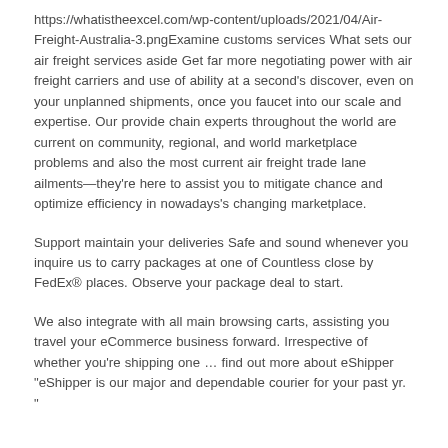https://whatistheexcel.com/wp-content/uploads/2021/04/Air-Freight-Australia-3.pngExamine customs services What sets our air freight services aside Get far more negotiating power with air freight carriers and use of ability at a second's discover, even on your unplanned shipments, once you faucet into our scale and expertise. Our provide chain experts throughout the world are current on community, regional, and world marketplace problems and also the most current air freight trade lane ailments—they're here to assist you to mitigate chance and optimize efficiency in nowadays's changing marketplace.
Support maintain your deliveries Safe and sound whenever you inquire us to carry packages at one of Countless close by FedEx® places. Observe your package deal to start.
We also integrate with all main browsing carts, assisting you travel your eCommerce business forward. Irrespective of whether you're shipping one … find out more about eShipper "eShipper is our major and dependable courier for your past yr. "